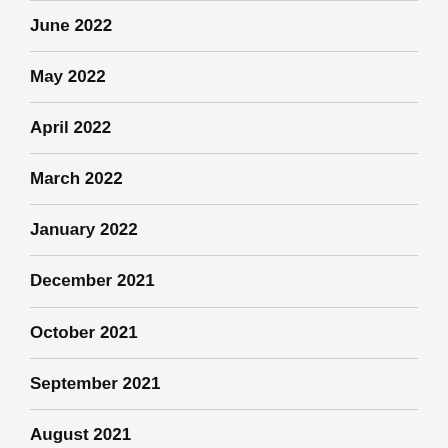June 2022
May 2022
April 2022
March 2022
January 2022
December 2021
October 2021
September 2021
August 2021